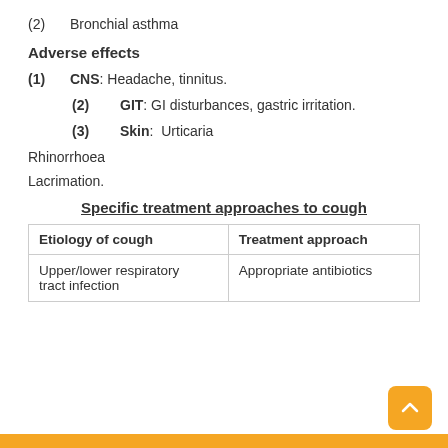(2)   Bronchial asthma
Adverse effects
(1)   CNS: Headache, tinnitus.
(2)   GIT: GI disturbances, gastric irritation.
(3)   Skin: Urticaria
Rhinorrhoea
Lacrimation.
Specific treatment approaches to cough
| Etiology of cough | Treatment approach |
| --- | --- |
| Upper/lower respiratory tract infection | Appropriate antibiotics |